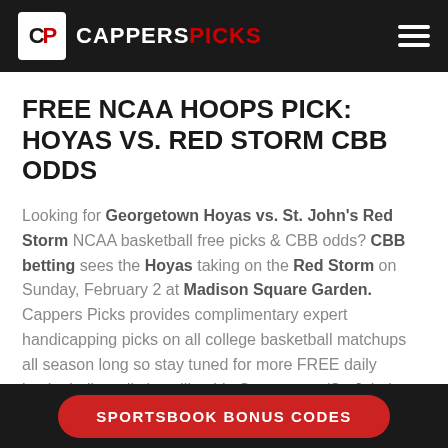CAPPERS PICKS
FREE NCAA HOOPS PICK: HOYAS VS. RED STORM CBB ODDS
Looking for Georgetown Hoyas vs. St. John's Red Storm NCAA basketball free picks & CBB odds? CBB betting sees the Hoyas taking on the Red Storm on Sunday, February 2 at Madison Square Garden. Cappers Picks provides complimentary expert handicapping picks on all college basketball matchups all season long so stay tuned for more FREE daily basketball predictions like this Georgetown/St. John's matchup.
2019-2020 NCAA Basketball
SPORTSBOOK BONUS CODES